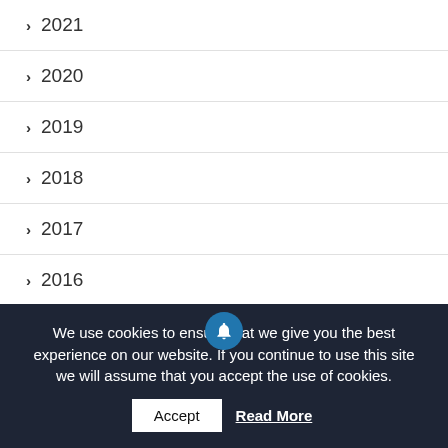> 2021
> 2020
> 2019
> 2018
> 2017
> 2016
We have been awarded ‘Excellent’ by ISI!
We use cookies to ensure that we give you the best experience on our website. If you continue to use this site we will assume that you accept the use of cookies.